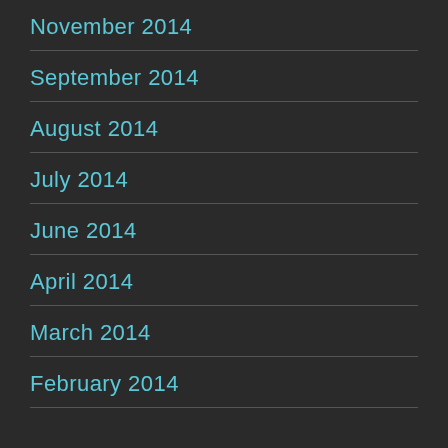November 2014
September 2014
August 2014
July 2014
June 2014
April 2014
March 2014
February 2014